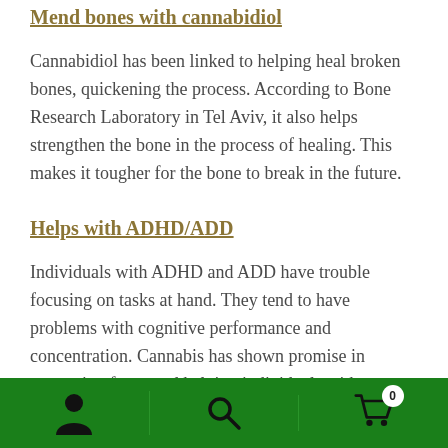Mend bones with cannabidiol
Cannabidiol has been linked to helping heal broken bones, quickening the process. According to Bone Research Laboratory in Tel Aviv, it also helps strengthen the bone in the process of healing. This makes it tougher for the bone to break in the future.
Helps with ADHD/ADD
Individuals with ADHD and ADD have trouble focusing on tasks at hand. They tend to have problems with cognitive performance and concentration. Cannabis has shown promise in promoting focus and helping individuals with ADHD/ADD. It is also considered a safer alternative to Adderall and Ritalin
[Figure (other): Green bottom navigation bar with person icon, search icon, and shopping cart icon with badge showing 0]